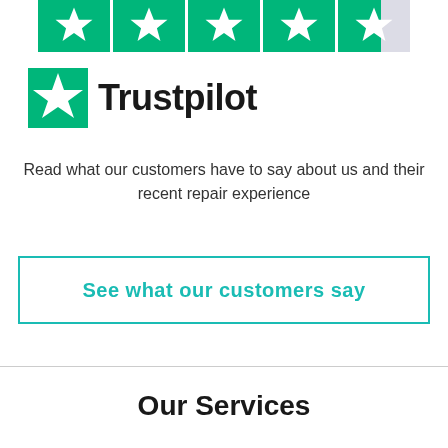[Figure (logo): Row of five Trustpilot star rating boxes in green, with the last star partially grey indicating a 4.5 or similar rating]
[Figure (logo): Trustpilot logo consisting of a green star icon and the word Trustpilot in bold black text]
Read what our customers have to say about us and their recent repair experience
See what our customers say
Our Services